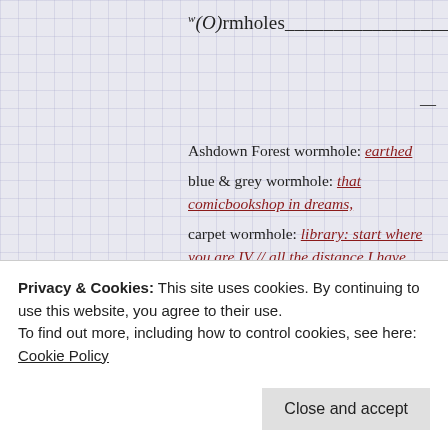w(O)rmholes___________________________________
—
Ashdown Forest wormhole: earthed
blue & grey wormhole: that comicbookshop in dreams,
carpet wormhole: library: start where you are IV // all the distance I have travelled!
clouds wormhole: now, have I forgotten anything
sitting wormhole: the / very gradual art of sitting
stillness wormhole: of a sudden // all the time
Privacy & Cookies: This site uses cookies. By continuing to use this website, you agree to their use.
To find out more, including how to control cookies, see here:
Cookie Policy
Close and accept